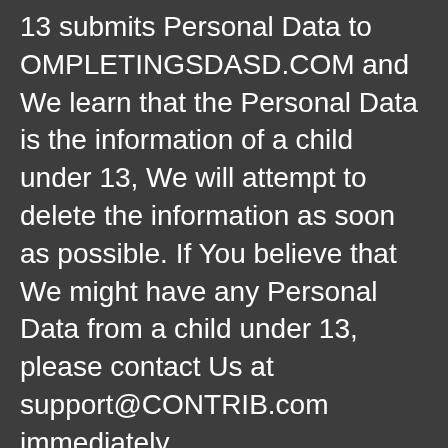13 submits Personal Data to OMPLETINGSDASD.COM and We learn that the Personal Data is the information of a child under 13, We will attempt to delete the information as soon as possible. If You believe that We might have any Personal Data from a child under 13, please contact Us at support@CONTRIB.com immediately.
III. A Note To Users Outside Of the United States